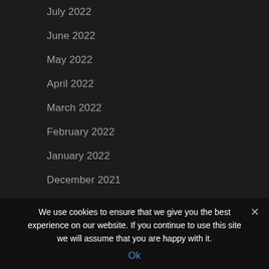July 2022
June 2022
May 2022
April 2022
March 2022
February 2022
January 2022
December 2021
November 2021
We use cookies to ensure that we give you the best experience on our website. If you continue to use this site we will assume that you are happy with it.
Ok